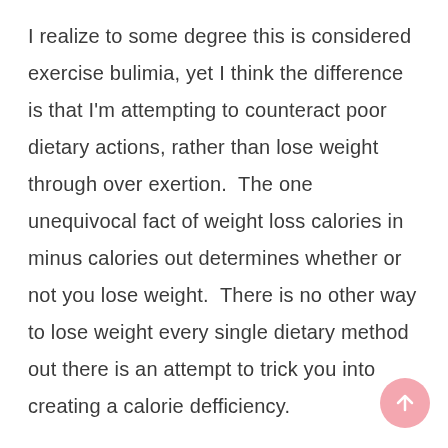I realize to some degree this is considered exercise bulimia, yet I think the difference is that I'm attempting to counteract poor dietary actions, rather than lose weight through over exertion.  The one unequivocal fact of weight loss calories in minus calories out determines whether or not you lose weight.  There is no other way to lose weight every single dietary method out there is an attempt to trick you into creating a calorie defficiency.
I guess we will find out a month from now how effective this change is, and whether or not I am able to sustain it.